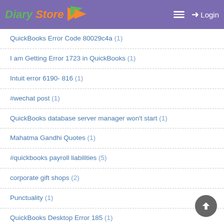Diary Store — Login
QuickBooks Error Code 80029c4a (1)
I am Getting Error 1723 in QuickBooks (1)
Intuit error 6190- 816 (1)
#wechat post (1)
QuickBooks database server manager won't start (1)
Mahatma Gandhi Quotes (1)
#quickbooks payroll liabilities (5)
corporate gift shops (2)
Punctuality (1)
QuickBooks Desktop Error 185 (1)
M.Scott Peck (1)
commercial moving companies (5)